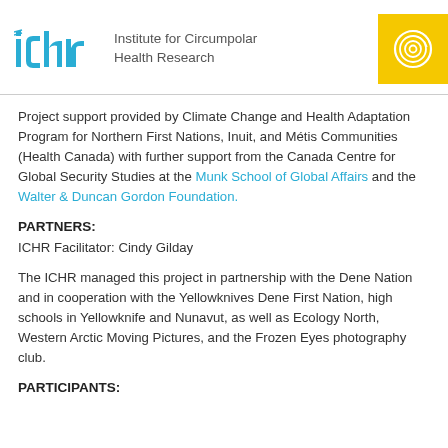[Figure (logo): ICHR logo with blue stylized letters 'ichr' and text 'Institute for Circumpolar Health Research', plus yellow box with circular emblem on right]
Project support provided by Climate Change and Health Adaptation Program for Northern First Nations, Inuit, and Métis Communities (Health Canada) with further support from the Canada Centre for Global Security Studies at the Munk School of Global Affairs and the Walter & Duncan Gordon Foundation.
PARTNERS:
ICHR Facilitator: Cindy Gilday
The ICHR managed this project in partnership with the Dene Nation and in cooperation with the Yellowknives Dene First Nation, high schools in Yellowknife and Nunavut, as well as Ecology North, Western Arctic Moving Pictures, and the Frozen Eyes photography club.
PARTICIPANTS: